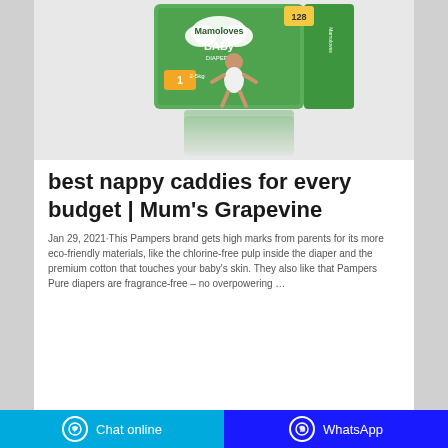[Figure (photo): Green baby diaper box labeled Mamoloves Baby Diapers with a happy baby on the front, plus a reflection/shadow of the box below]
best nappy caddies for every budget | Mum's Grapevine
Jan 29, 2021·This Pampers brand gets high marks from parents for its more eco-friendly materials, like the chlorine-free pulp inside the diaper and the premium cotton that touches your baby's skin. They also like that Pampers Pure diapers are fragrance-free – no overpowering …
Chat online    WhatsApp